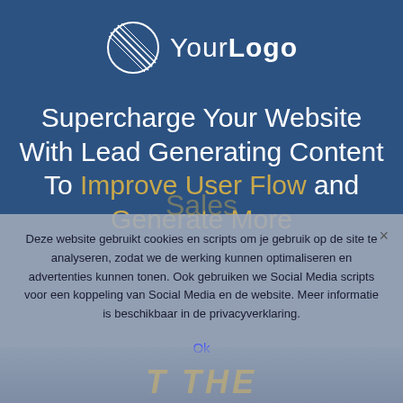[Figure (logo): Circle logo with diagonal lines and 'YourLogo' text in white]
Supercharge Your Website With Lead Generating Content To Improve User Flow and Generate More Sales
Deze website gebruikt cookies en scripts om je gebruik op de site te analyseren, zodat we de werking kunnen optimaliseren en advertenties kunnen tonen. Ook gebruiken we Social Media scripts voor een koppeling van Social Media en de website. Meer informatie is beschikbaar in de privacyverklaring.
Ok